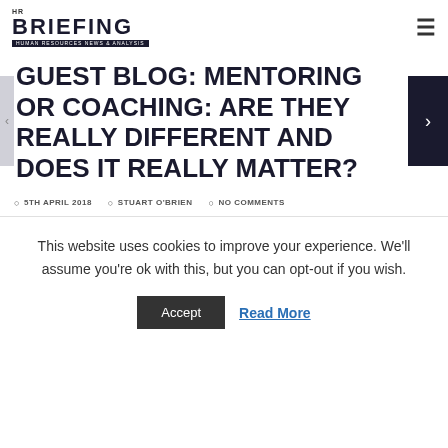HR BRIEFING — HUMAN RESOURCES NEWS & ANALYSIS
GUEST BLOG: MENTORING OR COACHING: ARE THEY REALLY DIFFERENT AND DOES IT REALLY MATTER?
5TH APRIL 2018   STUART O'BRIEN   NO COMMENTS
This website uses cookies to improve your experience. We'll assume you're ok with this, but you can opt-out if you wish.
Accept   Read More